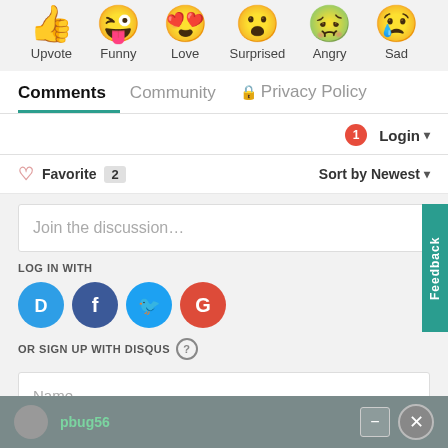[Figure (infographic): Six emoji reaction icons in a row: Upvote (thumbs up), Funny (tongue out laughing), Love (heart eyes), Surprised (wow face), Angry (mask/sick face), Sad (tear drop face), each with a label below]
Comments   Community   🔒 Privacy Policy
1  Login ▾
♡ Favorite  2         Sort by Newest ▾
Join the discussion…
Feedback
LOG IN WITH
[Figure (infographic): Four social login buttons: Disqus (D, blue circle), Facebook (f, dark blue circle), Twitter (bird, light blue circle), Google (G, red circle)]
OR SIGN UP WITH DISQUS  ?
Name
pbug56